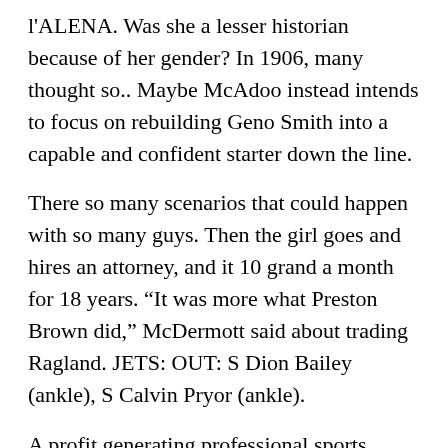l'ALENA. Was she a lesser historian because of her gender? In 1906, many thought so.. Maybe McAdoo instead intends to focus on rebuilding Geno Smith into a capable and confident starter down the line.
There so many scenarios that could happen with so many guys. Then the girl goes and hires an attorney, and it 10 grand a month for 18 years. “It was more what Preston Brown did,” McDermott said about trading Ragland. JETS: OUT: S Dion Bailey (ankle), S Calvin Pryor (ankle).
A profit generating professional sports franchise that has neither history with nor an intrinsic connection to Native Americans ought to be held to a different standard.. Karan was immediately criticized for her comments, particularly the suggestion which, unfortunately, many people believe that women “invite” trouble based on how